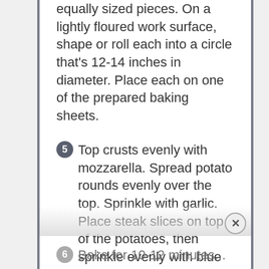equally sized pieces. On a lightly floured work surface, shape or roll each into a circle that's 12-14 inches in diameter. Place each on one of the prepared baking sheets.
5 Top crusts evenly with mozzarella. Spread potato rounds evenly over the top. Sprinkle with garlic. Place steak slices on top of the potatoes, then sprinkle evenly with blue cheese.
6 Bake for 10-12 minutes...